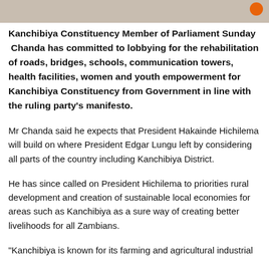[Figure (photo): Partial image strip at the top of the page, showing cropped photo content with an orange circular element at the top right]
Kanchibiya Constituency Member of Parliament Sunday Chanda has committed to lobbying for the rehabilitation of roads, bridges, schools, communication towers, health facilities, women and youth empowerment for Kanchibiya Constituency from Government in line with the ruling party's manifesto.
Mr Chanda said he expects that President Hakainde Hichilema will build on where President Edgar Lungu left by considering all parts of the country including Kanchibiya District.
He has since called on President Hichilema to priorities rural development and creation of sustainable local economies for areas such as Kanchibiya as a sure way of creating better livelihoods for all Zambians.
"Kanchibiya is known for its farming and agricultural industrial